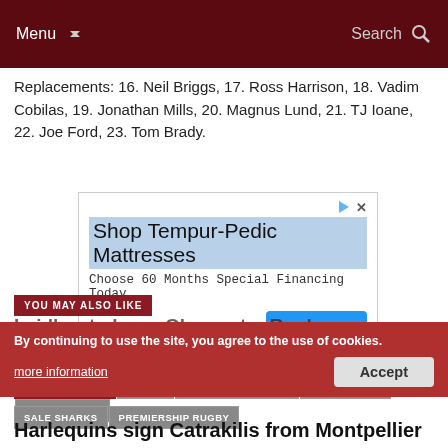Menu | Search
Replacements: 16. Neil Briggs, 17. Ross Harrison, 18. Vadim Cobilas, 19. Jonathan Mills, 20. Magnus Lund, 21. TJ Ioane, 22. Joe Ford, 23. Tom Brady.
[Figure (other): Advertisement for Shop Tempur-Pedic Mattresses - Choose 60 Months Special Financing Today. Ashley brand. Open button.]
RELATED ITEMS  RUGBY  AVIVA PREMIERSHIP  PREMIERSHIP  LONDON IRISH  SALE SHARKS  PREMIERSHIP RUGBY
YOU MAY ALSO LIKE
Laidlaw to leave Gloucester Rugby
By continuing to use the site, you agree to the use of cookies. more information  Accept
Harlequins sign Catrakilis from Montpellier